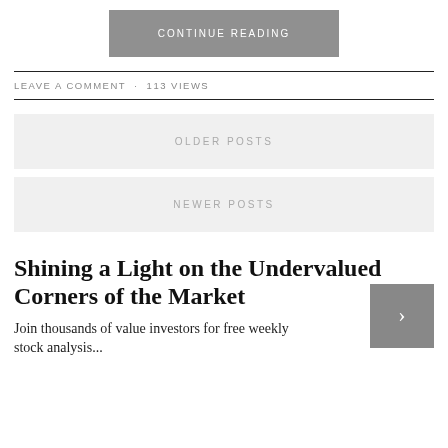CONTINUE READING
LEAVE A COMMENT · 113 VIEWS
OLDER POSTS
NEWER POSTS
Shining a Light on the Undervalued Corners of the Market
Join thousands of value investors for free weekly stock analysis...